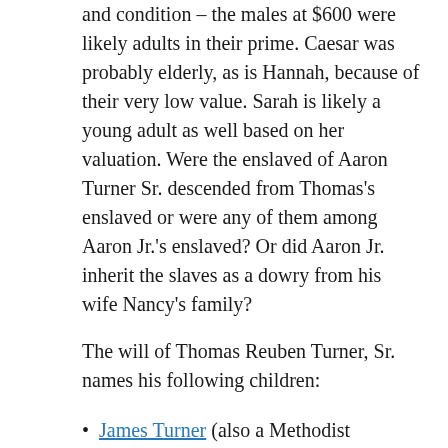and condition – the males at $600 were likely adults in their prime. Caesar was probably elderly, as is Hannah, because of their very low value. Sarah is likely a young adult as well based on her valuation. Were the enslaved of Aaron Turner Sr. descended from Thomas's enslaved or were any of them among Aaron Jr.'s enslaved? Or did Aaron Jr. inherit the slaves as a dowry from his wife Nancy's family?
The will of Thomas Reuben Turner, Sr. names his following children:
James Turner (also a Methodist preacher)
Aaron
Jane
Thomas Jr.